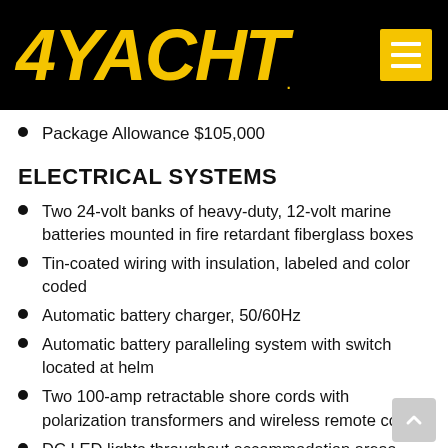4YACHT
Package Allowance $105,000
ELECTRICAL SYSTEMS
Two 24-volt banks of heavy-duty, 12-volt marine batteries mounted in fire retardant fiberglass boxes
Tin-coated wiring with insulation, labeled and color coded
Automatic battery charger, 50/60Hz
Automatic battery paralleling system with switch located at helm
Two 100-amp retractable shore cords with polarization transformers and wireless remote control
DC LED lights throughout accommodation areas